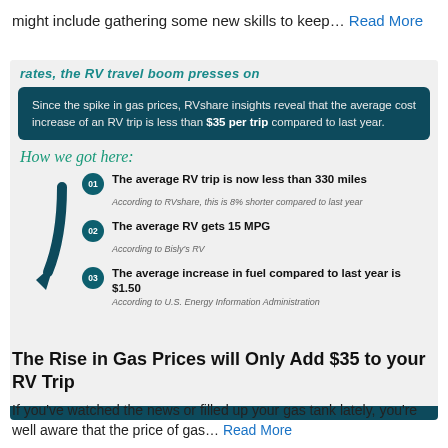might include gathering some new skills to keep… Read More
[Figure (infographic): Infographic from RVshare showing how gas price increases add less than $35 per trip compared to last year. Includes a dark teal banner with key stat, a 'How we got here:' section with three numbered points: (01) The average RV trip is now less than 330 miles - According to RVshare, this is 8% shorter compared to last year; (02) The average RV gets 15 MPG - According to Bisly's RV; (03) The average increase in fuel compared to last year is $1.50 - According to U.S. Energy Information Administration.]
The Rise in Gas Prices will Only Add $35 to your RV Trip
If you've watched the news or filled up your gas tank lately, you're well aware that the price of gas… Read More